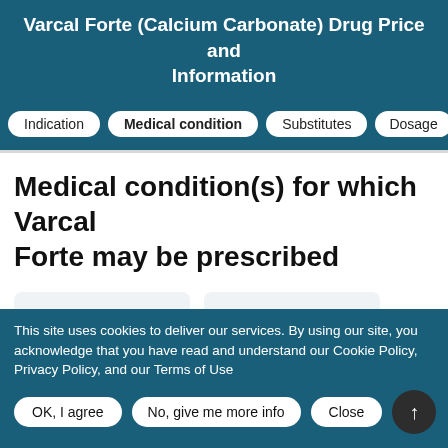Varcal Forte (Calcium Carbonate) Drug Price and Information
Indication
Medical condition
Substitutes
Dosage
Medical condition(s) for which Varcal Forte may be prescribed
[Figure (other): Card with label Heat Exhaustion on light blue background]
[Figure (other): Card with label Heat Stroke on light blue background]
This site uses cookies to deliver our services. By using our site, you acknowledge that you have read and understand our Cookie Policy, Privacy Policy, and our Terms of Use
OK, I agree
No, give me more info
Close